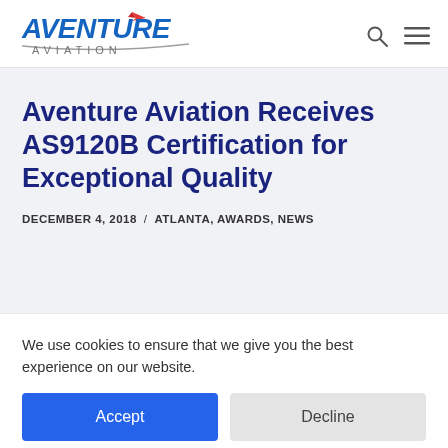[Figure (logo): Aventure Aviation logo with stylized text and red airplane swoosh above 'AVIATION' in gray letters]
Aventure Aviation Receives AS9120B Certification for Exceptional Quality
DECEMBER 4, 2018 / ATLANTA, AWARDS, NEWS
We use cookies to ensure that we give you the best experience on our website.